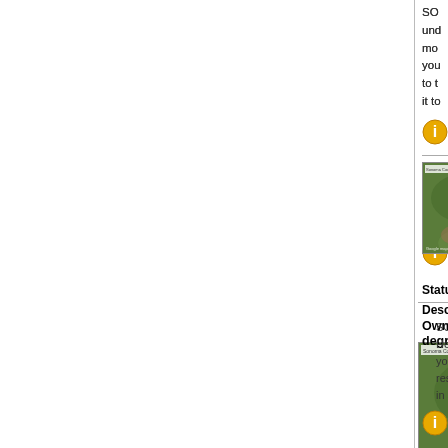SO... und... mo... you... to t... it to...
Click
[Figure (photo): Aerial/satellite view of wooded land parcel with dirt road]
Own Your... degree vie...
Type: Lot
Price: $10...
City: Squa...
County: P...
Status: S
Description:
SO... He... you... res... in a...
Click